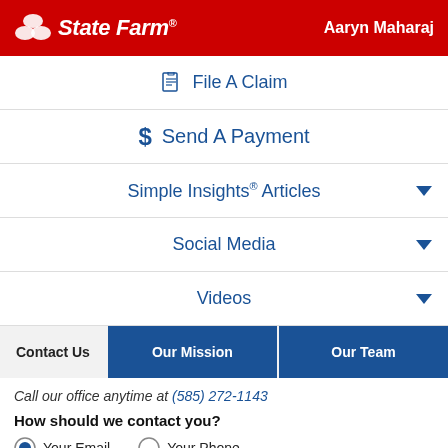State Farm — Aaryn Maharaj
File A Claim
Send A Payment
Simple Insights® Articles
Social Media
Videos
Contact Us | Our Mission | Our Team
Call our office anytime at (585) 272-1143
How should we contact you?
Your Email  Your Phone